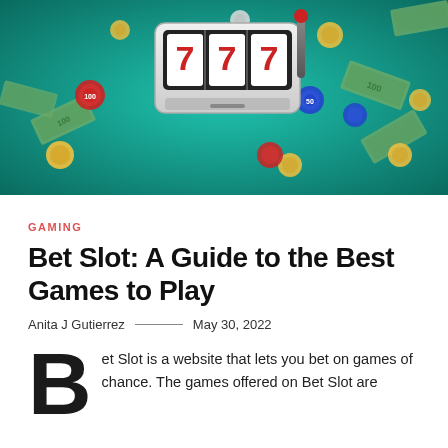[Figure (photo): Casino slot machine showing triple 7s with coins, poker chips, and dollar bills flying around on a teal/green background]
GAMING
Bet Slot: A Guide to the Best Games to Play
Anita J Gutierrez — May 30, 2022
Bet Slot is a website that lets you bet on games of chance. The games offered on Bet Slot are